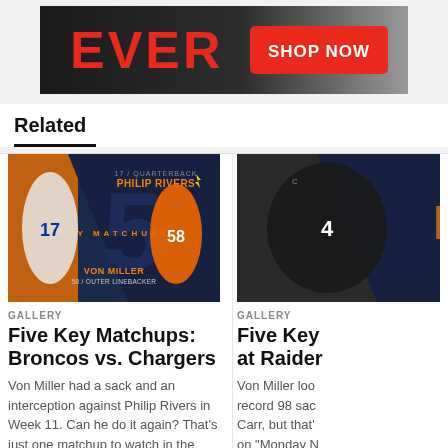[Figure (photo): Advertisement banner with 'EVER' in red text on dark background and a red 'SHOP NOW' button]
Related
[Figure (photo): Sports graphic showing Philip Rivers (Chargers QB #17) and Von Miller (Broncos LB #58) with '5 KEY MATCHUPS' text overlay]
GALLERY
Five Key Matchups: Broncos vs. Chargers
Von Miller had a sack and an interception against Philip Rivers in Week 11. Can he do it again? That's just one matchup to watch in the season finale.
[Figure (photo): Sports graphic showing Raiders player #4 (Derek Carr) with dark blue overlay and partial 'K' text visible]
GALLERY
Five Key at Raider
Von Miller loo record 98 sac Carr, but that' on "Monday N